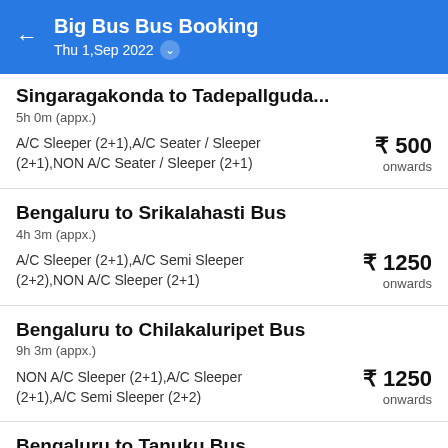Big Bus Bus Booking
Thu 1,Sep 2022
Singaragakonda to Tadepailguda...
5h 0m (appx.)
A/C Sleeper (2+1),A/C Seater / Sleeper (2+1),NON A/C Seater / Sleeper (2+1)
₹ 500 onwards
Bengaluru to Srikalahasti Bus
4h 3m (appx.)
A/C Sleeper (2+1),A/C Semi Sleeper (2+2),NON A/C Sleeper (2+1)
₹ 1250 onwards
Bengaluru to Chilakaluripet Bus
9h 3m (appx.)
NON A/C Sleeper (2+1),A/C Sleeper (2+1),A/C Semi Sleeper (2+2)
₹ 1250 onwards
Bengaluru to Tanuku Bus
13h 0m (appx.)